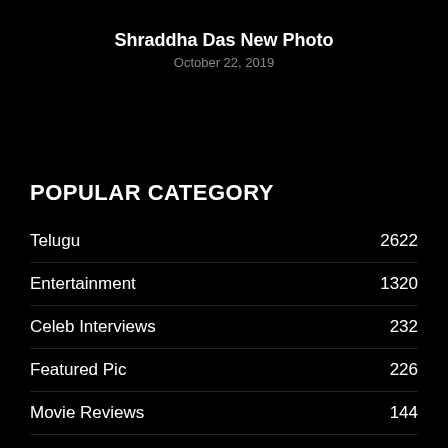Shraddha Das New Photo
October 22, 2019
POPULAR CATEGORY
Telugu  2622
Entertainment  1320
Celeb Interviews  232
Featured Pic  226
Movie Reviews  144
Videos  10
Photo Gallery  2